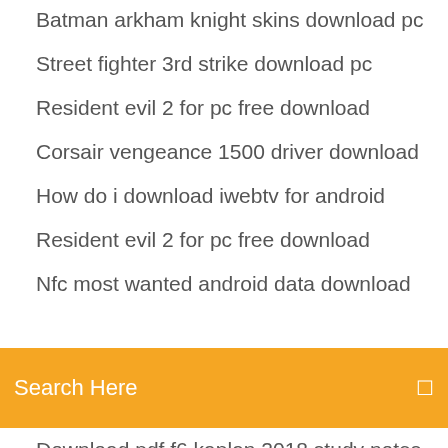Batman arkham knight skins download pc
Street fighter 3rd strike download pc
Resident evil 2 for pc free download
Corsair vengeance 1500 driver download
How do i download iwebtv for android
Resident evil 2 for pc free download
Nfc most wanted android data download
Search Here
Download pdf f6 kaplan 2018 study notes
Dell a225 speakers driver download
Mobdro apk download firestick
Download sonic rom mania for ps4
Download radeon r7800 drivers
How to download apps on iphone with gmail
Free windows 7 full version with key download
How to download legacy versions of minecarft server
How to download netflix into your own files
Android phone download for jbl baby monitor camera